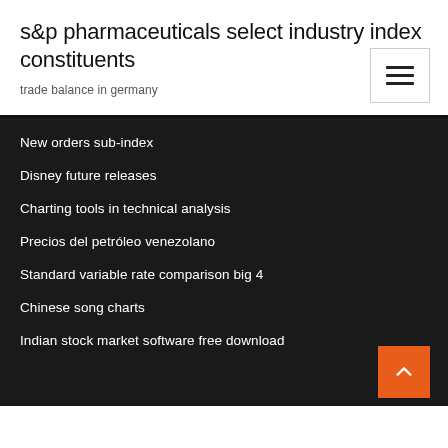s&p pharmaceuticals select industry index constituents
trade balance in germany
New orders sub-index
Disney future releases
Charting tools in technical analysis
Precios del petróleo venezolano
Standard variable rate comparison big 4
Chinese song charts
Indian stock market software free download